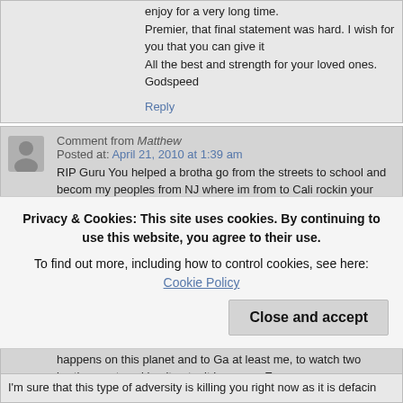enjoy for a very long time.
Premier, that final statement was hard. I wish for you that you can give it
All the best and strength for your loved ones.
Godspeed
Reply
Comment from Matthew
Posted at: April 21, 2010 at 1:39 am
RIP Guru You helped a brotha go from the streets to school and becom my peoples from NJ where im from to Cali rockin your music all day! Mu love you will live on within our beats and hearts!!
Reply
Comment from phil paul call
Posted at: April 21, 2010 at 1:52 am
No fret, DJP, it's obvious that this man, Solar thinks he is the universe only star in the sky in the face of Guru's last waning moments; Solar tha Even if you and Guru had beef, which happens on this planet and to Ga at least me, to watch two brothers get working it out... it happens. Every
Privacy & Cookies: This site uses cookies. By continuing to use this website, you agree to their use.
To find out more, including how to control cookies, see here: Cookie Policy
Close and accept
I'm sure that this type of adversity is killing you right now as it is defacin